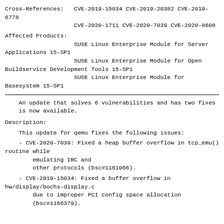Cross-References:   CVE-2019-15034 CVE-2019-20382 CVE-2019-6778
                    CVE-2020-1711 CVE-2020-7039 CVE-2020-8608
Affected Products:
                    SUSE Linux Enterprise Module for Server Applications 15-SP1
                    SUSE Linux Enterprise Module for Open Buildservice Development Tools 15-SP1
                    SUSE Linux Enterprise Module for Basesystem 15-SP1
An update that solves 6 vulnerabilities and has two fixes
    is now available.
Description:
This update for qemu fixes the following issues:
- CVE-2020-7039: Fixed a heap buffer overflow in tcp_emu() routine while
        emulating IRC and
        other protocols (bsc#1161066).
- CVE-2019-15034: Fixed a buffer overflow in hw/display/bochs-display.c
        due to improper PCI config space allocation
        (bsc#1166379).